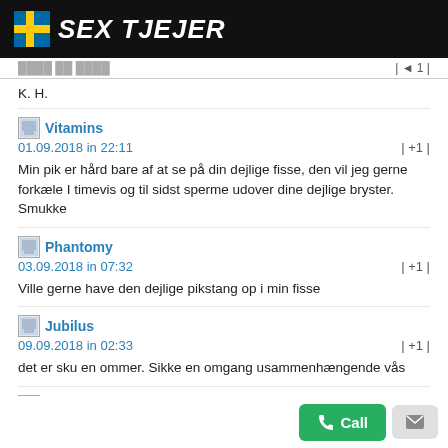SEX TJEJER
K. H.
Vitamins
01.09.2018 in 22:11
| +1 |
Min pik er hård bare af at se på din dejlige fisse, den vil jeg gerne forkæle I timevis og til sidst sperme udover dine dejlige bryster. Smukke
Phantomy
03.09.2018 in 07:32
| +1 |
Ville gerne have den dejlige pikstang op i min fisse
Jubilus
09.09.2018 in 02:33
| +1 |
det er sku en ommer. Sikke en omgang usammenhængende vås
Litus
09.09.2018 in 17:17
| +1 |
Her drenge,ser i frække, sutte klare patter .